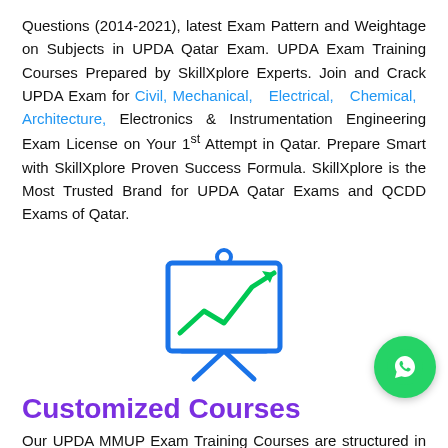Questions (2014-2021), latest Exam Pattern and Weightage on Subjects in UPDA Qatar Exam. UPDA Exam Training Courses Prepared by SkillXplore Experts. Join and Crack UPDA Exam for Civil, Mechanical, Electrical, Chemical, Architecture, Electronics & Instrumentation Engineering Exam License on Your 1st Attempt in Qatar. Prepare Smart with SkillXplore Proven Success Formula. SkillXplore is the Most Trusted Brand for UPDA Qatar Exams and QCDD Exams of Qatar.
[Figure (illustration): Blue presentation board / easel icon with a green upward-trending line/arrow graph on it]
Customized Courses
Our UPDA MMUP Exam Training Courses are structured in line with UPDA Exam Syllabus, Previous UPDA Exam Questions (2014-2021), latest